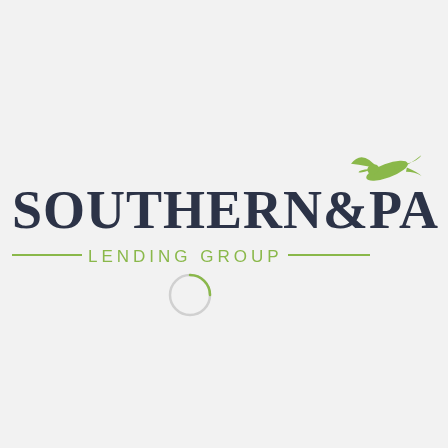[Figure (logo): Southern & Pacific Lending Group logo with a green bird/eagle silhouette flying to the right, company name in dark navy bold text, and 'LENDING GROUP' in green spaced letters with green horizontal lines on each side]